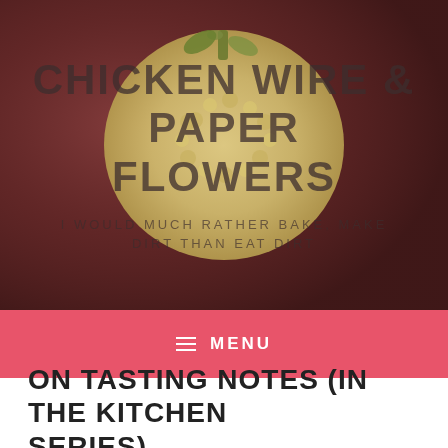[Figure (photo): Header image of a crochet or textured pumpkin/gourd on a dark reddish-purple background, with blog title and subtitle overlaid in dark semi-transparent text.]
CHICKEN WIRE & PAPER FLOWERS
I WOULD MUCH RATHER BAKE, MAKE DIRT THAN EAT DIRT
MENU
ON TASTING NOTES (IN THE KITCHEN SERIES)